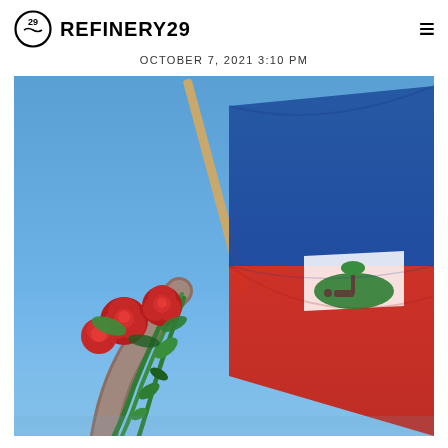REFINERY29
OCTOBER 7, 2021 3:10 PM
[Figure (photo): A hand holding red roses alongside a Haitian flag waving against a clear blue sky. The flag shows the blue over red bicolor with the national coat of arms in the center.]